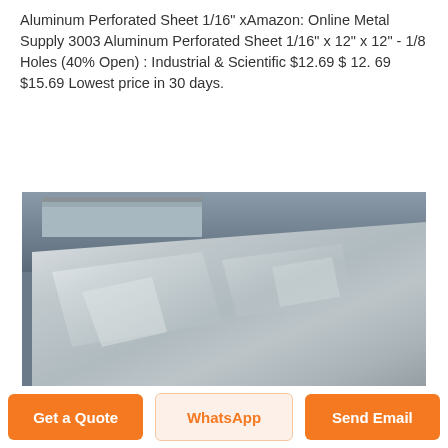Aluminum Perforated Sheet 1/16" xAmazon: Online Metal Supply 3003 Aluminum Perforated Sheet 1/16" x 12" x 12" - 1/8 Holes (40% Open) : Industrial & Scientific $12.69 $ 12. 69 $15.69 Lowest price in 30 days.
[Figure (photo): Stack of shiny aluminum sheets in a warehouse or industrial setting, viewed from an angle showing the top surface with reflective highlights and blue-edged sheets stacked underneath.]
Aluminum sheet - Handan
Get a Quote | WhatsApp | Send Email